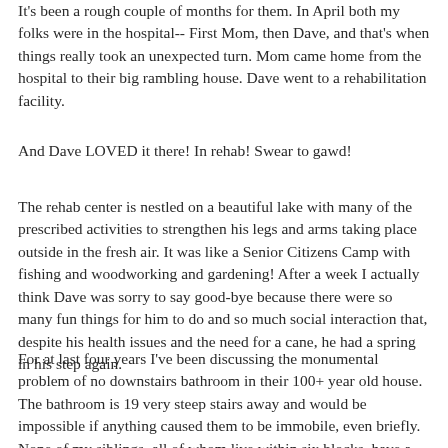It's been a rough couple of months for them. In April both my folks were in the hospital-- First Mom, then Dave, and that's when things really took an unexpected turn. Mom came home from the hospital to their big rambling house. Dave went to a rehabilitation facility.
And Dave LOVED it there! In rehab! Swear to gawd!
The rehab center is nestled on a beautiful lake with many of the prescribed activities to strengthen his legs and arms taking place outside in the fresh air. It was like a Senior Citizens Camp with fishing and woodworking and gardening! After a week I actually think Dave was sorry to say good-bye because there were so many fun things for him to do and so much social interaction that, despite his health issues and the need for a cane, he had a spring in his step again.
For at last four years I've been discussing the monumental problem of no downstairs bathroom in their 100+ year old house. The bathroom is 19 very steep stairs away and would be impossible if anything caused them to be immobile, even briefly. None of my siblings, all of whom live within six blocks, have a